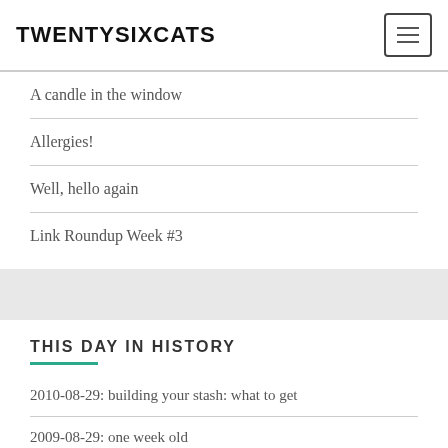TWENTYSIXCATS
A candle in the window
Allergies!
Well, hello again
Link Roundup Week #3
THIS DAY IN HISTORY
2010-08-29: building your stash: what to get
2009-08-29: one week old
2005-08-29: whitewater rafting